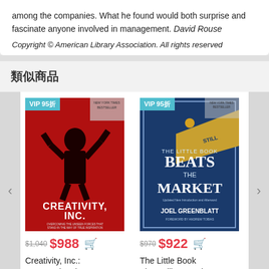among the companies. What he found would both surprise and fascinate anyone involved in management. David Rouse
Copyright © American Library Association. All rights reserved
類似商品
[Figure (photo): Book cover: Creativity, Inc.: Overcoming the Unseen Forces That with VIP 95折 badge and price $988 (original $1,040)]
[Figure (photo): Book cover: The Little Book That Still Beats the Market with VIP 95折 badge and price $922 (original $970)]
Creativity, Inc.: Overcoming the Unseen Forces That
The Little Book That Still Beats the Market